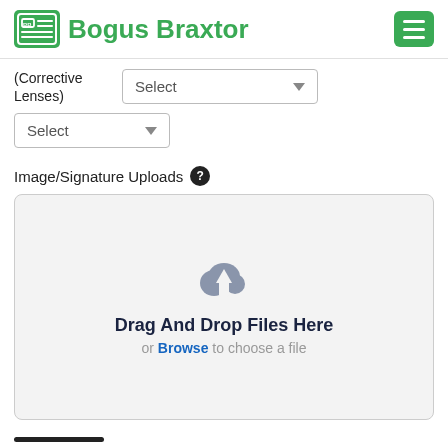Bogus Braxtor
(Corrective Lenses)
Select
Select
Image/Signature Uploads
[Figure (infographic): File upload drop zone with cloud upload icon, 'Drag And Drop Files Here' text, and 'or Browse to choose a file' subtext]